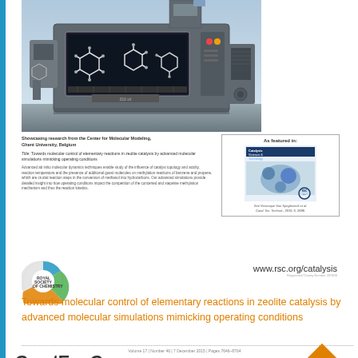[Figure (illustration): Scientific illustration of a zeolite catalysis machine/conveyor belt with molecular structures (benzene rings) on a conveyor, industrial equipment in the background]
Showcasing research from the Center for Molecular Modeling, Ghent University, Belgium
Title: Towards molecular control of elementary reactions in zeolite catalysis by advanced molecular simulations mimicking operating conditions
Advanced ab initio molecular dynamics techniques enable study of the influence of catalyst topology and acidity, reaction temperature and the presence of additional guest molecules on methylation reactions of benzene and propene, which are crucial reaction steps in the conversion of methanol into hydrocarbons. Our advanced simulations provide detailed insight into how operating conditions impact the competition of the concerted and stepwise methylation mechanism and thus the reaction kinetics.
[Figure (illustration): As featured in: Catalysis Science & Technology journal cover image with molecular simulation graphics]
See Veronique Van Speybroeck et al. Catal. Sci. Technol., 2016, 6, 2686.
[Figure (logo): Royal Society of Chemistry logo - circular design with RSC text]
www.rsc.org/catalysis
Towards molecular control of elementary reactions in zeolite catalysis by advanced molecular simulations mimicking operating conditions
Volume 17 | Number 46 | 7 December 2015 | Pages 7646–8764
CrystEngComm